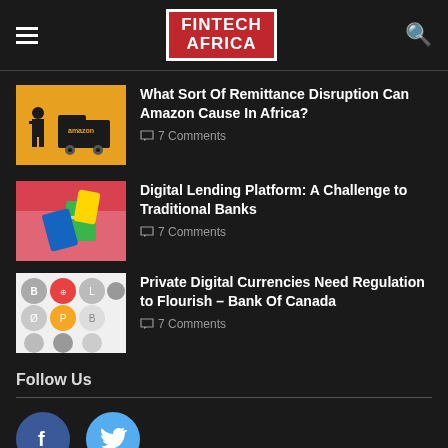FINTECH AFRICA
[Figure (screenshot): Amazon delivery truck illustration on orange background]
What Sort Of Remittance Disruption Can Amazon Cause In Africa?
7 Comments
[Figure (illustration): Digital lending illustration with hands and money on pink/red background]
Digital Lending Platform: A Challenge to Traditional Banks
7 Comments
[Figure (illustration): Grid of cryptocurrency coin icons on white background]
Private Digital Currencies Need Regulation to Flourish – Bank Of Canada
7 Comments
Follow Us
[Figure (logo): Facebook and Twitter social media circular buttons]